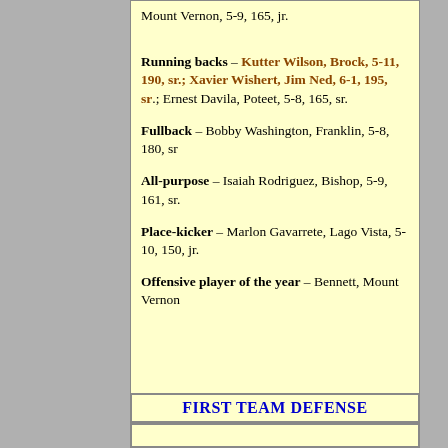Mount Vernon, 5-9, 165, jr.
Running backs – Kutter Wilson, Brock, 5-11, 190, sr.; Xavier Wishert, Jim Ned, 6-1, 195, sr.; Ernest Davila, Poteet, 5-8, 165, sr.
Fullback – Bobby Washington, Franklin, 5-8, 180, sr
All-purpose – Isaiah Rodriguez, Bishop, 5-9, 161, sr.
Place-kicker – Marlon Gavarrete, Lago Vista, 5-10, 150, jr.
Offensive player of the year – Bennett, Mount Vernon
FIRST TEAM DEFENSE